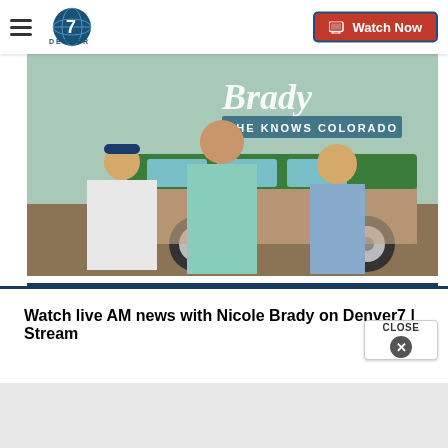[Figure (logo): Denver7 news channel logo with stylized '7' and globe icon]
[Figure (photo): Nicole Brady with two children standing in front of a green and brown vintage station wagon. Text overlay reads 'Brady SHE KNOWS COLORADO']
Watch live AM news with Nicole Brady on Denver7 | Stream
[Figure (screenshot): CLOSE button with X icon in bottom right corner]